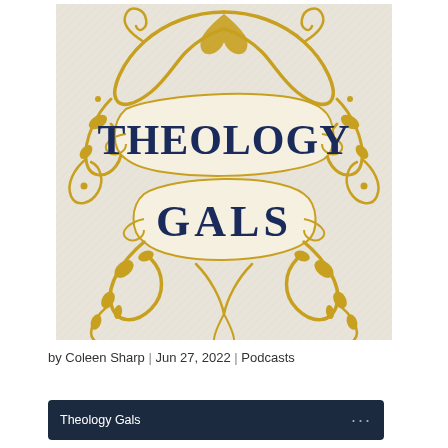[Figure (logo): Theology Gals podcast logo: cream/beige background with diagonal fine lines, ornate gold/golden flourishes and scrollwork surrounding a banner-style design. 'THEOLOGY' text in large dark navy serif letters on upper banner, 'GALS' text in large dark navy serif letters on lower banner. Decorative botanical and swirl elements in gold surround the banners.]
by Coleen Sharp | Jun 27, 2022 | Podcasts
Theology Gals